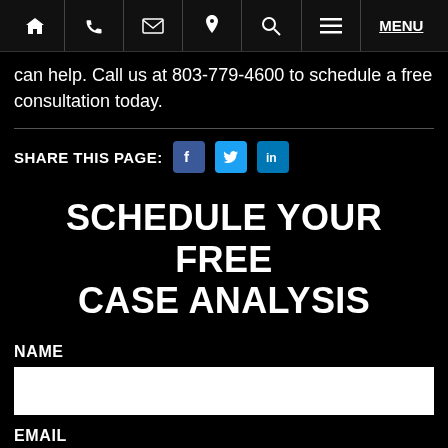Navigation bar with home, phone, email, location, search, menu icons and MENU link
can help. Call us at 803-779-4600 to schedule a free consultation today.
SHARE THIS PAGE: [Facebook] [Twitter] [LinkedIn]
SCHEDULE YOUR FREE CASE ANALYSIS
NAME
EMAIL